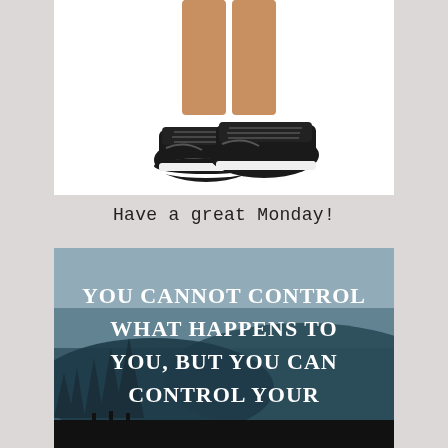[Figure (photo): Cropped photo of a person's legs wearing black athletic sneakers/running shoes on a white background]
Have a great Monday!
[Figure (photo): Motivational quote image with dark teal mountain and pine tree landscape background. Text reads: YOU CANNOT CONTROL WHAT HAPPENS TO YOU, BUT YOU CAN CONTROL YOUR (cut off)]